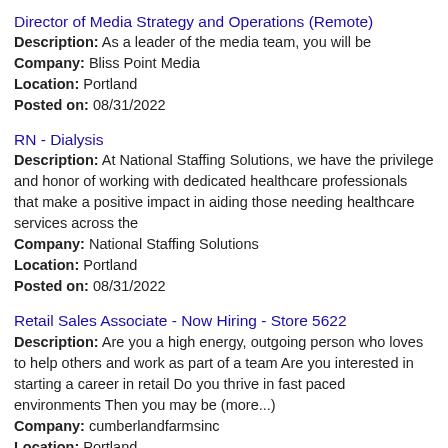Director of Media Strategy and Operations (Remote)
Description: As a leader of the media team, you will be
Company: Bliss Point Media
Location: Portland
Posted on: 08/31/2022
RN - Dialysis
Description: At National Staffing Solutions, we have the privilege and honor of working with dedicated healthcare professionals that make a positive impact in aiding those needing healthcare services across the
Company: National Staffing Solutions
Location: Portland
Posted on: 08/31/2022
Retail Sales Associate - Now Hiring - Store 5622
Description: Are you a high energy, outgoing person who loves to help others and work as part of a team Are you interested in starting a career in retail Do you thrive in fast paced environments Then you may be (more...)
Company: cumberlandfarmsinc
Location: Portland
Posted on: 08/31/2022